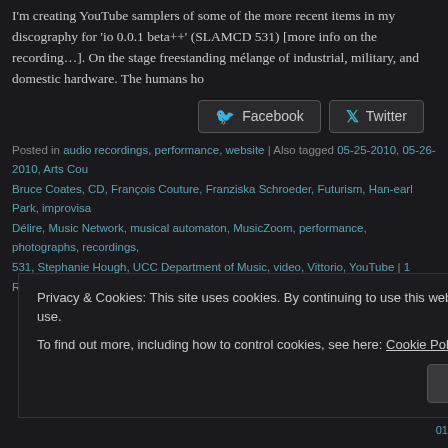I'm creating YouTube samplers of some of the more recent items in my discography for 'io 0.0.1 beta++' (SLAMCD 531) [more info on the recording…]. On the stage freestanding mélange of industrial, military, and domestic hardware. The humans ho
[Figure (other): Facebook and Twitter share buttons]
Posted in audio recordings, performance, website | Also tagged 05-25-2010, 05-26-2010, Arts Cou Bruce Coates, CD, François Couture, Franziska Schroeder, Futurism, Han-earl Park, improvisa Délire, Music Network, musical automaton, MusicZoom, performance, photographs, recordings, 531, Stephanie Hough, UCC Department of Music, video, Vittorio, YouTube | 1 Response
dalston sound: sonic ter
Privacy & Cookies: This site uses cookies. By continuing to use this website, you agree to their use. To find out more, including how to control cookies, see here: Cookie Policy
Close and accept